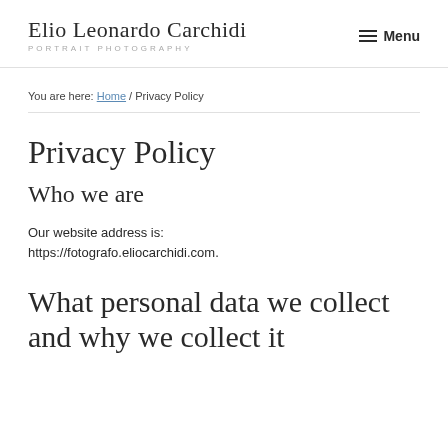Elio Leonardo Carchidi PORTRAIT PHOTOGRAPHY Menu
You are here: Home / Privacy Policy
Privacy Policy
Who we are
Our website address is: https://fotografo.eliocarchidi.com.
What personal data we collect and why we collect it